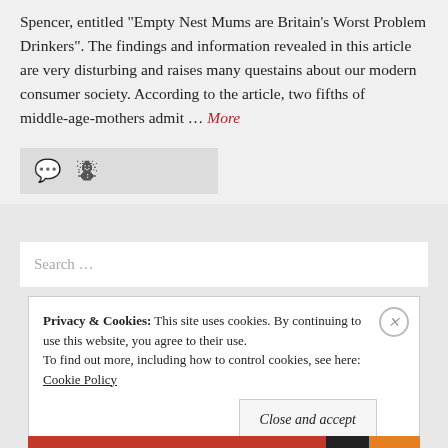Spencer, entitled "Empty Nest Mums are Britain's Worst Problem Drinkers". The findings and information revealed in this article are very disturbing and raises many questains about our modern consumer society. According to the article, two fifths of middle-age-mothers admit … More
[Figure (other): Comment and share icon buttons on a grey bar]
[Figure (other): Search input box with placeholder text 'Search ...']
Privacy & Cookies: This site uses cookies. By continuing to use this website, you agree to their use. To find out more, including how to control cookies, see here: Cookie Policy
Close and accept